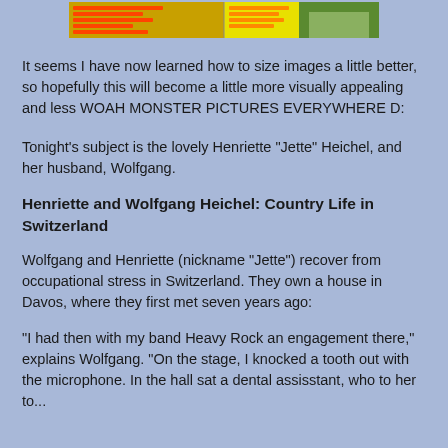[Figure (screenshot): A banner image with yellow and orange text on a colorful background, appears to be a website header or advertisement with green foliage visible on the right side.]
It seems I have now learned how to size images a little better, so hopefully this will become a little more visually appealing and less WOAH MONSTER PICTURES EVERYWHERE D:
Tonight's subject is the lovely Henriette "Jette" Heichel, and her husband, Wolfgang.
Henriette and Wolfgang Heichel: Country Life in Switzerland
Wolfgang and Henriette (nickname "Jette") recover from occupational stress in Switzerland. They own a house in Davos, where they first met seven years ago:
"I had then with my band Heavy Rock an engagement there," explains Wolfgang. "On the stage, I knocked a tooth out with the microphone. In the hall sat a dental assisstant, who to her to...